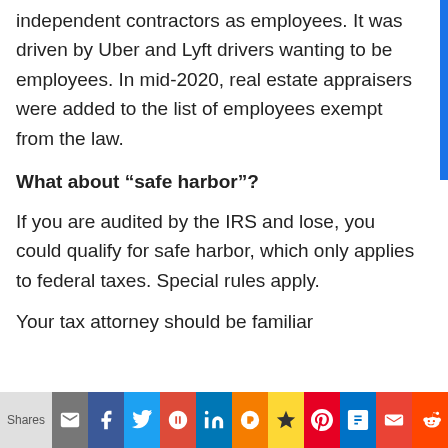independent contractors as employees. It was driven by Uber and Lyft drivers wanting to be employees. In mid-2020, real estate appraisers were added to the list of employees exempt from the law.
What about “safe harbor”?
If you are audited by the IRS and lose, you could qualify for safe harbor, which only applies to federal taxes. Special rules apply.
Your tax attorney should be familiar